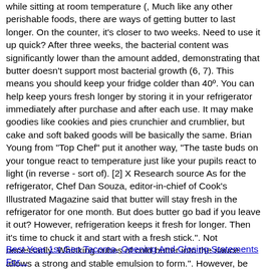while sitting at room temperature (, Much like any other perishable foods, there are ways of getting butter to last longer. On the counter, it's closer to two weeks. Need to use it up quick? After three weeks, the bacterial content was significantly lower than the amount added, demonstrating that butter doesn't support most bacterial growth (6, 7). This means you should keep your fridge colder than 40º. You can help keep yours fresh longer by storing it in your refrigerator immediately after purchase and after each use. It may make goodies like cookies and pies crunchier and crumblier, but cake and soft baked goods will be basically the same. Brian Young from "Top Chef" put it another way, "The taste buds on your tongue react to temperature just like your pupils react to light (in reverse - sort of). [2] X Research source As for the refrigerator, Chef Dan Souza, editor-in-chief of Cook's Illustrated Magazine said that butter will stay fresh in the refrigerator for one month. But does butter go bad if you leave it out? However, refrigeration keeps it fresh for longer. Then it's time to chuck it and start with a fresh stick.". Not necessarily. Whisking cubes of cold butter into the sauce allows a strong and stable emulsion to form.". However, be mindful that your room is actually room temperature, Chefs store butter on the counter namely for convenience and for some baking recipes, Refrigerated butter is better for sauces and certain baking recipes.
Best Year 1st Gen Tacoma, Opening And Closing Statements For...